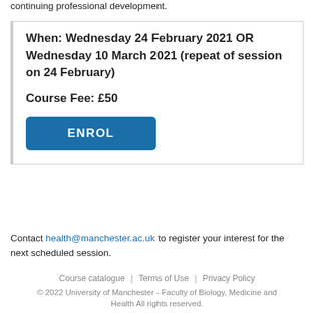continuing professional development.
When: Wednesday 24 February 2021 OR Wednesday 10 March 2021 (repeat of session on 24 February)

Course Fee: £50

ENROL
Contact health@manchester.ac.uk to register your interest for the next scheduled session.
Course catalogue | Terms of Use | Privacy Policy
© 2022 University of Manchester - Faculty of Biology, Medicine and Health All rights reserved.